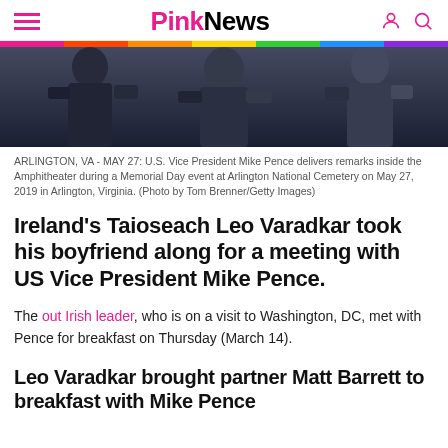PinkNews
[Figure (photo): Photo of people in dark suits at a Memorial Day event, showing torsos/lower bodies]
ARLINGTON, VA - MAY 27: U.S. Vice President Mike Pence delivers remarks inside the Amphitheater during a Memorial Day event at Arlington National Cemetery on May 27, 2019 in Arlington, Virginia. (Photo by Tom Brenner/Getty Images)
Ireland's Taioseach Leo Varadkar took his boyfriend along for a meeting with US Vice President Mike Pence.
The out Irish leader, who is on a visit to Washington, DC, met with Pence for breakfast on Thursday (March 14).
Leo Varadkar brought partner Matt Barrett to breakfast with Mike Pence